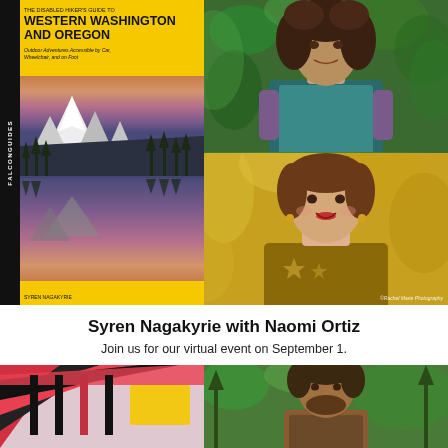[Figure (photo): Book cover: The Disabled Hiker's Guide to Western Washington and Oregon by Syren Nagakyrie, Falcon Guides, with mountain lake landscape photo]
[Figure (photo): Portrait photo of Naomi Ortiz, a woman with curly dark hair wearing a teal vest, outdoors in green foliage]
[Figure (photo): Portrait photo of a woman smiling, wearing a mustard/gold sweater, with yellow autumn foliage background. Credit: Rachel Marie Photography]
Syren Nagakyrie with Naomi Ortiz
Join us for our virtual event on September 1.
[Figure (photo): Bottom left partial image showing colorful graphic design elements]
[Figure (photo): Bottom right partial image showing a man outdoors among green foliage]